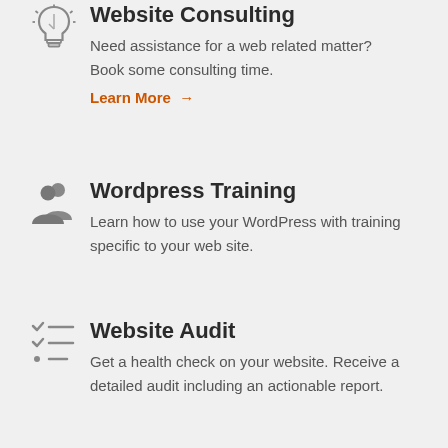[Figure (illustration): Light bulb icon, outline style, gray color]
Website Consulting
Need assistance for a web related matter? Book some consulting time.
Learn More →
[Figure (illustration): Two people / users icon, filled gray color]
Wordpress Training
Learn how to use your WordPress with training specific to your web site.
[Figure (illustration): Checklist / task list icon, gray color with checkmarks]
Website Audit
Get a health check on your website. Receive a detailed audit including an actionable report.